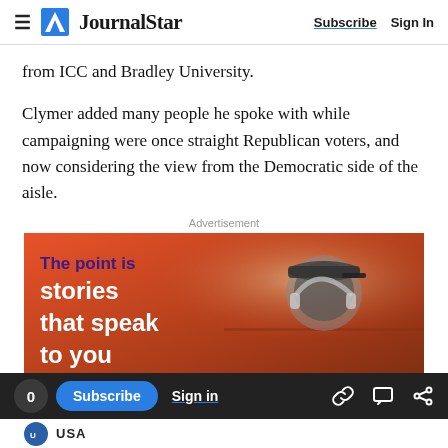JournalStar  Subscribe  Sign In
from ICC and Bradley University.
Clymer added many people he spoke with while campaigning were once straight Republican voters, and now considering the view from the Democratic side of the aisle.
Advertisement
[Figure (photo): Advertisement banner with orange/red gradient background showing a person wearing a cap and headphones, with text 'The point is stories that speak to you']
0  Subscribe  Sign in